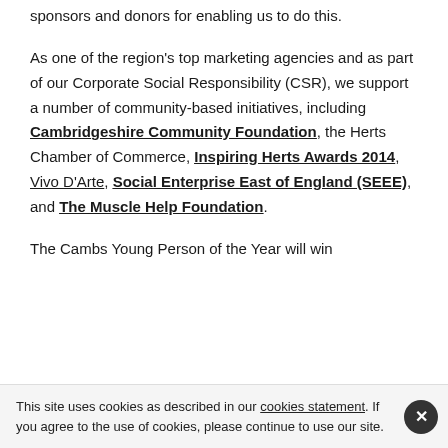sponsors and donors for enabling us to do this.
As one of the region's top marketing agencies and as part of our Corporate Social Responsibility (CSR), we support a number of community-based initiatives, including Cambridgeshire Community Foundation, the Herts Chamber of Commerce, Inspiring Herts Awards 2014, Vivo D'Arte, Social Enterprise East of England (SEEE), and The Muscle Help Foundation.
The Cambs Young Person of the Year will win
This site uses cookies as described in our cookies statement. If you agree to the use of cookies, please continue to use our site.